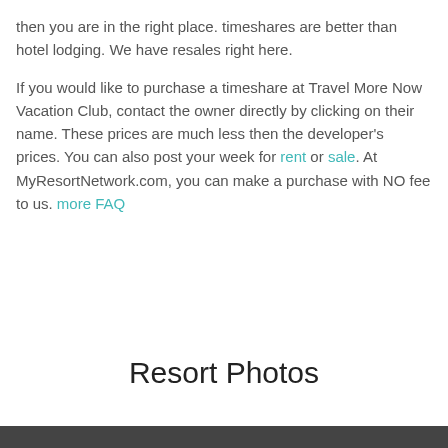then you are in the right place. timeshares are better than hotel lodging. We have resales right here.
If you would like to purchase a timeshare at Travel More Now Vacation Club, contact the owner directly by clicking on their name. These prices are much less then the developer's prices. You can also post your week for rent or sale. At MyResortNetwork.com, you can make a purchase with NO fee to us. more FAQ
Resort Photos